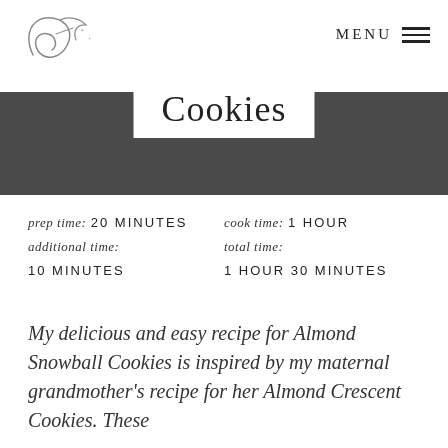[Figure (logo): Cursive handwritten style logo with a stylized G and decorative elements]
MENU ≡
Cookies
prep time: 20 MINUTES   cook time: 1 HOUR
additional time:   total time:
10 MINUTES   1 HOUR 30 MINUTES
My delicious and easy recipe for Almond Snowball Cookies is inspired by my maternal grandmother's recipe for her Almond Crescent Cookies. These